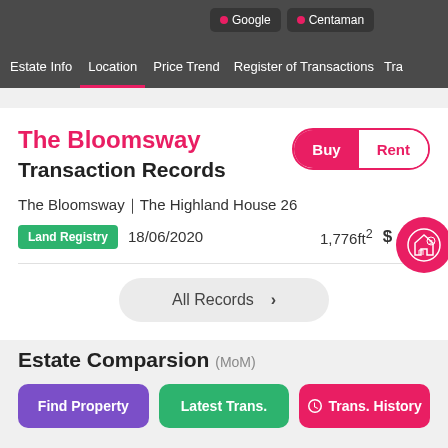Estate Info  Location  Price Trend  Register of Transactions  Tra
The Bloomsway Transaction Records
The Bloomsway｜The Highland House 26
Land Registry   18/06/2020   1,776ft²   $ 40M
All Records >
Estate Comparsion (MoM)
Find Property
Latest Trans.
Trans. History